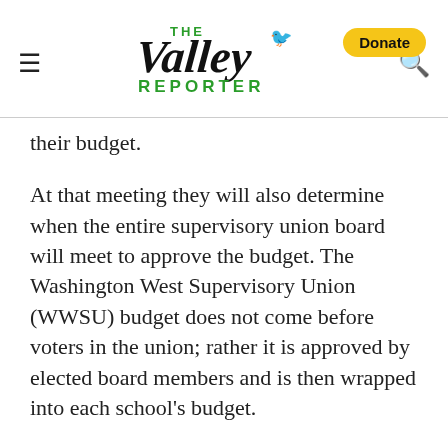The Valley Reporter
their budget.
At that meeting they will also determine when the entire supervisory union board will meet to approve the budget. The Washington West Supervisory Union (WWSU) budget does not come before voters in the union; rather it is approved by elected board members and is then wrapped into each school's budget.
This year the WWSU 2016 budget is proposed at $1,319,218, up 7 percent from the 2015 budget of $1,231,300. That includes moving $34,414 in districtwide applications into the WWSU budget. If